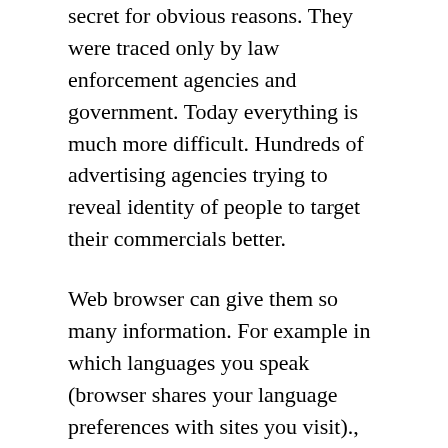secret for obvious reasons. They were traced only by law enforcement agencies and government. Today everything is much more difficult. Hundreds of advertising agencies trying to reveal identity of people to target their commercials better.
Web browser can give them so many information. For example in which languages you speak (browser shares your language preferences with sites you visit)., in which city you live (this can be obtained from IP), how big is your computer display (web page can get your display resolution), what video player or office suite you have installed (they can query installed browser plugins) and much more...